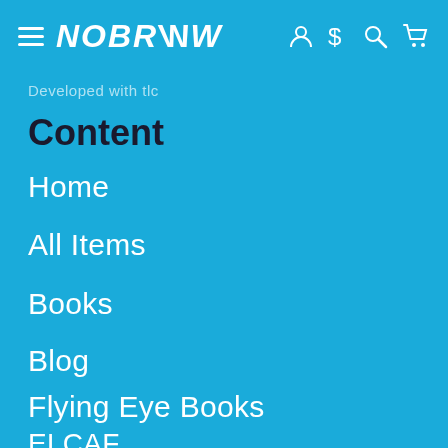NOBROW
Developed with tlc
Content
Home
All Items
Books
Blog
Flying Eye Books
ELCAF
Other